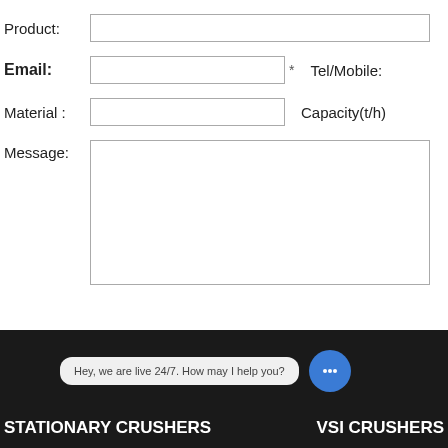Product:
Email:
Tel/Mobile:
Material :
Capacity(t/h)
Message:
Hey, we are live 24/7. How may I help you?
STATIONARY CRUSHERS    VSI CRUSHERS